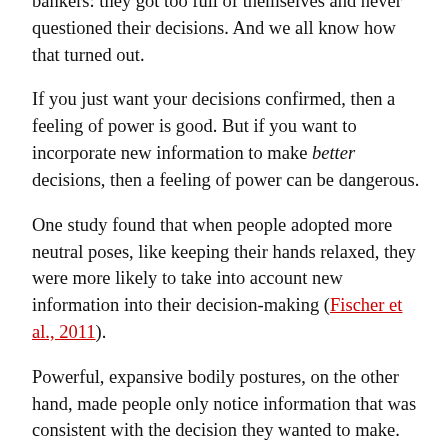bankers: they got too full of themselves and never questioned their decisions. And we all know how that turned out.
If you just want your decisions confirmed, then a feeling of power is good. But if you want to incorporate new information to make better decisions, then a feeling of power can be dangerous.
One study found that when people adopted more neutral poses, like keeping their hands relaxed, they were more likely to take into account new information into their decision-making (Fischer et al., 2011).
Powerful, expansive bodily postures, on the other hand, made people only notice information that was consistent with the decision they wanted to make.